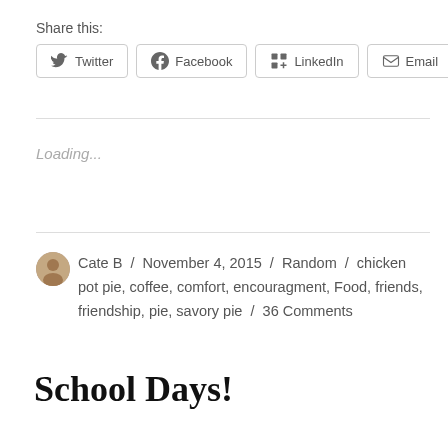Share this:
Twitter  Facebook  LinkedIn  Email
Loading...
Cate B / November 4, 2015 / Random / chicken pot pie, coffee, comfort, encouragment, Food, friends, friendship, pie, savory pie / 36 Comments
School Days!